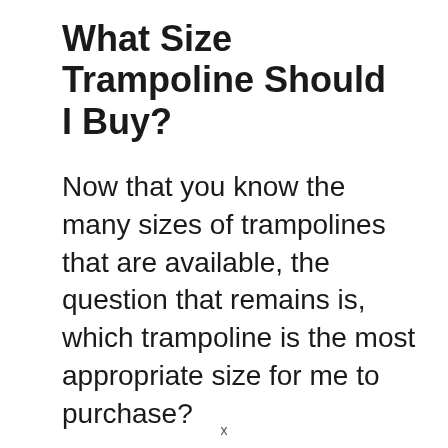What Size Trampoline Should I Buy?
Now that you know the many sizes of trampolines that are available, the question that remains is, which trampoline is the most appropriate size for me to purchase?